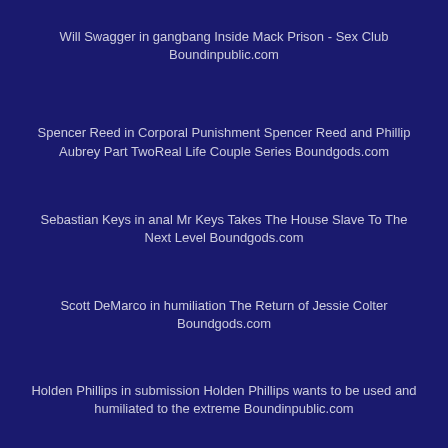Will Swagger in gangbang Inside Mack Prison - Sex Club Boundinpublic.com
Spencer Reed in Corporal Punishment Spencer Reed and Phillip Aubrey Part TwoReal Life Couple Series Boundgods.com
Sebastian Keys in anal Mr Keys Takes The House Slave To The Next Level Boundgods.com
Scott DeMarco in humiliation The Return of Jessie Colter Boundgods.com
Holden Phillips in submission Holden Phillips wants to be used and humiliated to the extreme Boundinpublic.com
Xander Corvus in orgy Holiday BDSM Slut Orgy turns Fangirl to Sex Slave Theupperfloor.com